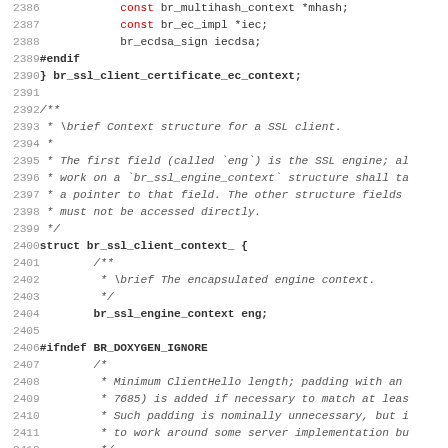Source code listing lines 2386-2418, C/C++ header file with SSL client context structures